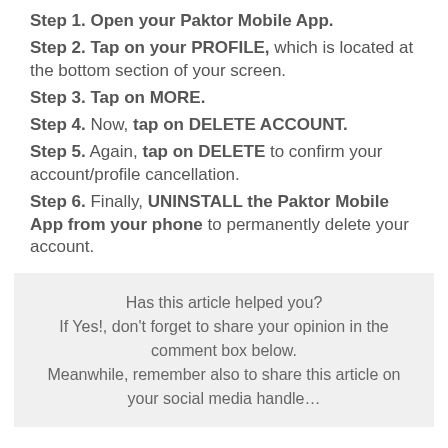Step 1. Open your Paktor Mobile App.
Step 2. Tap on your PROFILE, which is located at the bottom section of your screen.
Step 3. Tap on MORE.
Step 4. Now, tap on DELETE ACCOUNT.
Step 5. Again, tap on DELETE to confirm your account/profile cancellation.
Step 6. Finally, UNINSTALL the Paktor Mobile App from your phone to permanently delete your account.
Has this article helped you? If Yes!, don't forget to share your opinion in the comment box below. Meanwhile, remember also to share this article on your social media handle…